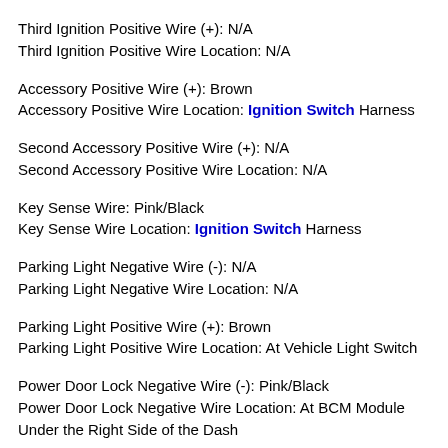Third Ignition Positive Wire (+): N/A
Third Ignition Positive Wire Location: N/A
Accessory Positive Wire (+): Brown
Accessory Positive Wire Location: Ignition Switch Harness
Second Accessory Positive Wire (+): N/A
Second Accessory Positive Wire Location: N/A
Key Sense Wire: Pink/Black
Key Sense Wire Location: Ignition Switch Harness
Parking Light Negative Wire (-): N/A
Parking Light Negative Wire Location: N/A
Parking Light Positive Wire (+): Brown
Parking Light Positive Wire Location: At Vehicle Light Switch
Power Door Lock Negative Wire (-): Pink/Black
Power Door Lock Negative Wire Location: At BCM Module Under the Right Side of the Dash
Power Door Unlock Negative Wire (-): Orange/Black